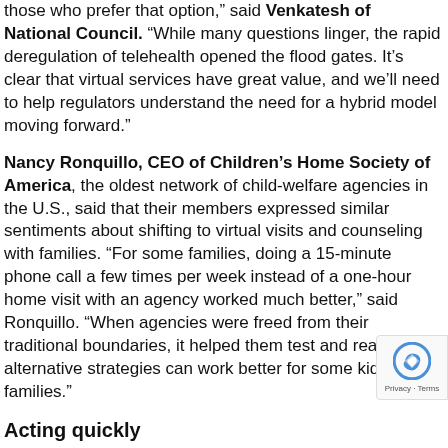those who prefer that option," said Venkatesh of National Council. "While many questions linger, the rapid deregulation of telehealth opened the flood gates. It’s clear that virtual services have great value, and we’ll need to help regulators understand the need for a hybrid model moving forward."
Nancy Ronquillo, CEO of Children’s Home Society of America, the oldest network of child-welfare agencies in the U.S., said that their members expressed similar sentiments about shifting to virtual visits and counseling with families. “For some families, doing a 15-minute phone call a few times per week instead of a one-hour home visit with an agency worked much better,” said Ronquillo. “When agencies were freed from their traditional boundaries, it helped them test and realize how alternative strategies can work better for some kids and families.”
Acting quickly